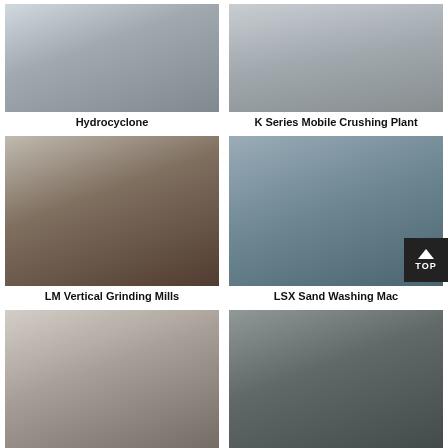[Figure (photo): Hydrocyclone equipment - grey tank/separator unit]
Hydrocyclone
[Figure (photo): K Series Mobile Crushing Plant - large machinery on floor]
K Series Mobile Crushing Plant
[Figure (photo): LM Vertical Grinding Mills - large industrial mill in warehouse]
LM Vertical Grinding Mills
[Figure (photo): LSX Sand Washing Machine - conveyor and washing equipment outdoors]
LSX Sand Washing Mac...
[Figure (photo): LUM Ultrafine Vertical Roller - tall vertical roller mill in factory]
LUM Ultrafine Vertical Roller
[Figure (photo): Magnetic Separation Machine - blue and grey industrial machine]
Magnetic Separation Machine